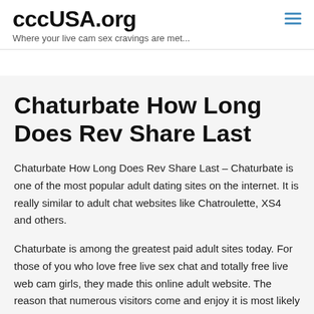cccUSA.org
Where your live cam sex cravings are met...
Chaturbate How Long Does Rev Share Last
Chaturbate How Long Does Rev Share Last – Chaturbate is one of the most popular adult dating sites on the internet. It is really similar to adult chat websites like Chatroulette, XS4 and others.
Chaturbate is among the greatest paid adult sites today. For those of you who love free live sex chat and totally free live web cam girls, they made this online adult website. The reason that numerous visitors come and enjoy it is most likely the cheap cost they use. This live sex webcam site is definitely free.